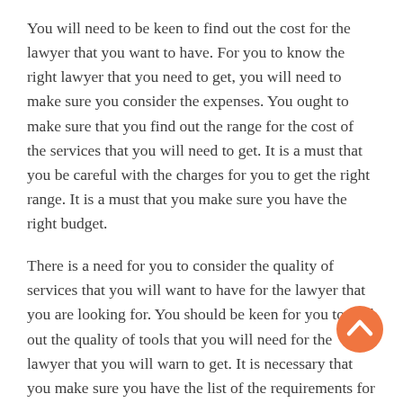You will need to be keen to find out the cost for the lawyer that you want to have. For you to know the right lawyer that you need to get, you will need to make sure you consider the expenses. You ought to make sure that you find out the range for the cost of the services that you will need to get. It is a must that you be careful with the charges for you to get the right range. It is a must that you make sure you have the right budget.
There is a need for you to consider the quality of services that you will want to have for the lawyer that you are looking for. You should be keen for you to find out the quality of tools that you will need for the lawyer that you will warn to get. It is necessary that you make sure you have the list of the requirements for the lawyer which you want to have. You will need to be keen for you to get the right lawyer that can handle the tasks that you have in the right way.
It is important that you make sure you consider the
[Figure (other): Orange circular back-to-top button with upward chevron arrow icon]